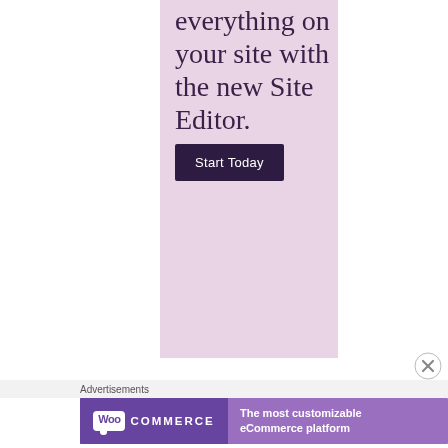[Figure (screenshot): Pink/lavender advertisement banner with large serif text 'everything on your site with the new Site Editor.' and a dark purple 'Start Today' button]
Advertisements
[Figure (screenshot): WooCommerce advertisement banner with logo on purple background and text 'The most customizable eCommerce platform']